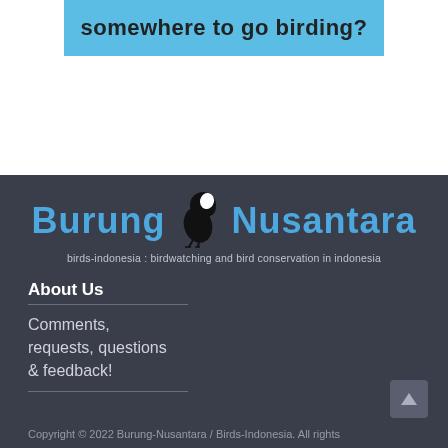[Figure (screenshot): Blue banner with bold text 'somewhere to go birding?' on light blue background with faint map outline]
[Figure (logo): Burung Nusantara logo: bird silhouette between 'Burung' and 'Nusantara' in blue text, with tagline 'birds-indonesia : birdwatching and bird conservation in indonesia']
About Us
Comments, requests, questions & feedback!
Copyright © 2022 Burung-Nusantara / Birds-Indonesia. All rights